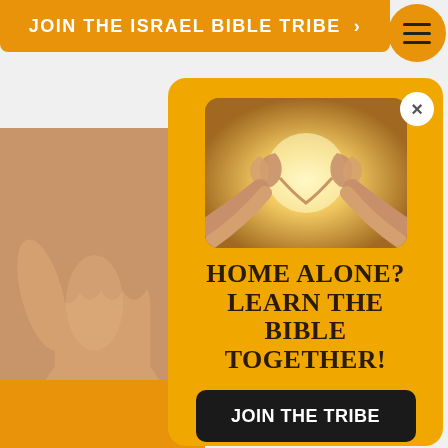JOIN THE ISRAEL BIBLE TRIBE >
[Figure (screenshot): Orange circular hamburger menu button with three horizontal lines]
[Figure (photo): Background photo of hands making thumbs up gesture]
[Figure (screenshot): Popup modal with orange background. Contains a photo of hands forming heart shapes in sunlight, text 'HOME ALONE? LEARN THE BIBLE TOGETHER!', a dark JOIN THE TRIBE button, and a 'No thanks I don't want to join.' link]
HOME ALONE? LEARN THE BIBLE TOGETHER!
JOIN THE TRIBE
No thanks I don't want to join.